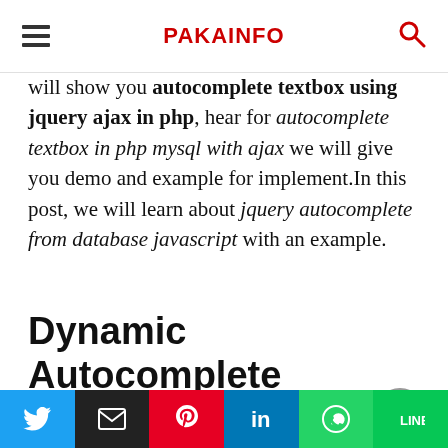PAKAINFO
will show you autocomplete textbox using jquery ajax in php, hear for autocomplete textbox in php mysql with ajax we will give you demo and example for implement.In this post, we will learn about jquery autocomplete from database javascript with an example.
Dynamic Autocomplete Textbox in jQuery Ajax
Contents
[Figure (other): Back to top arrow button (grey circle with upward triangle)]
[Figure (other): Social sharing bar with Twitter, Email, Pinterest, LinkedIn, WhatsApp, and LINE buttons]